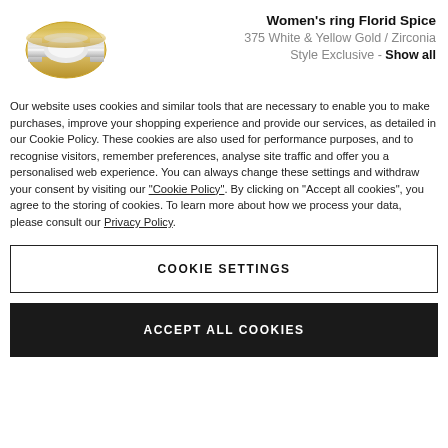[Figure (illustration): A women's ring with white and yellow gold band design (Florid Spice), shown at an angle]
Women's ring Florid Spice
375 White & Yellow Gold / Zirconia
Style Exclusive - Show all
Our website uses cookies and similar tools that are necessary to enable you to make purchases, improve your shopping experience and provide our services, as detailed in our Cookie Policy. These cookies are also used for performance purposes, and to recognise visitors, remember preferences, analyse site traffic and offer you a personalised web experience. You can always change these settings and withdraw your consent by visiting our “Cookie Policy”. By clicking on “Accept all cookies”, you agree to the storing of cookies. To learn more about how we process your data, please consult our Privacy Policy.
COOKIE SETTINGS
ACCEPT ALL COOKIES